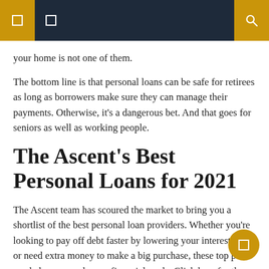navigation header with logo icons and search
your home is not one of them.
The bottom line is that personal loans can be safe for retirees as long as borrowers make sure they can manage their payments. Otherwise, it's a dangerous bet. And that goes for seniors as well as working people.
The Ascent's Best Personal Loans for 2021
The Ascent team has scoured the market to bring you a shortlist of the best personal loan providers. Whether you're looking to pay off debt faster by lowering your interest rate or need extra money to make a big purchase, these top picks can help you reach your financial goals. Click here for the full rundown of The Ascent's top picks.